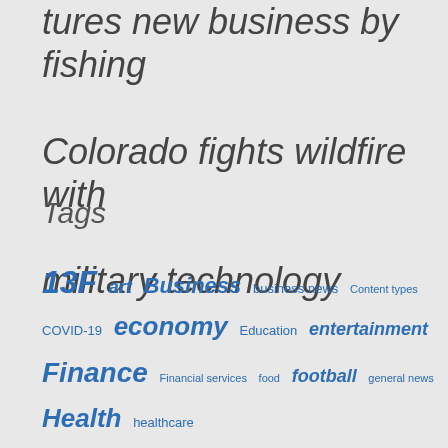tures new business by fishing Colorado fights wildfire with military technology
Tags
13F  art  Business  business news  Content types
COVID-19  economy  Education  entertainment
Finance  Financial services  food  football  general news
Health  healthcare